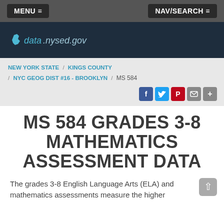MENU ≡   NAV/SEARCH ≡
[Figure (logo): data.nysed.gov logo with New York state silhouette icon on dark navy background]
NEW YORK STATE / KINGS COUNTY / NYC GEOG DIST #16 - BROOKLYN / MS 584
MS 584 GRADES 3-8 MATHEMATICS ASSESSMENT DATA
The grades 3-8 English Language Arts (ELA) and mathematics assessments measure the higher